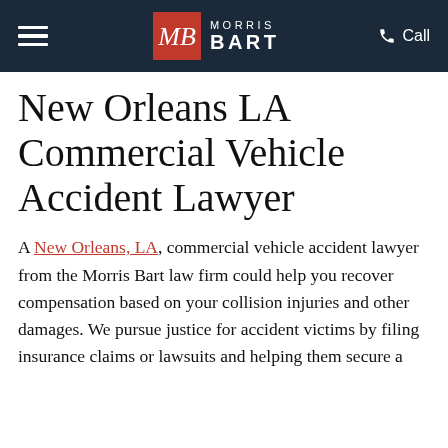Morris Bart — Navigation header with hamburger menu, logo, and Call button
New Orleans LA Commercial Vehicle Accident Lawyer
A New Orleans, LA, commercial vehicle accident lawyer from the Morris Bart law firm could help you recover compensation based on your collision injuries and other damages. We pursue justice for accident victims by filing insurance claims or lawsuits and helping them secure a